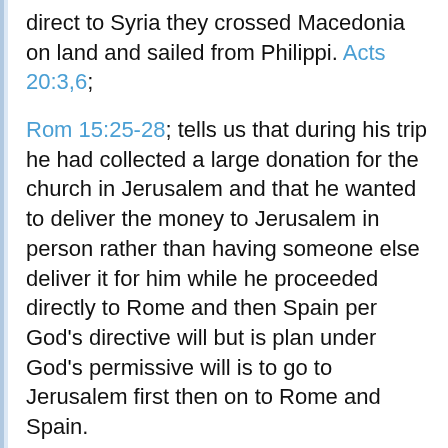direct to Syria they crossed Macedonia on land and sailed from Philippi. Acts 20:3,6;
Rom 15:25-28; tells us that during his trip he had collected a large donation for the church in Jerusalem and that he wanted to deliver the money to Jerusalem in person rather than having someone else deliver it for him while he proceeded directly to Rome and then Spain per God's directive will but is plan under God's permissive will is to go to Jerusalem first then on to Rome and Spain.
Acts 20:16-17; tells us that Paul wanted to be in Jerusalem on Pentecost so he bypassed the large church in Ephesus and had the pastors meet him in nearby Miletus.
He tells the pastors that He is bound by the Spirit but the Holy Spirit is actually warning him that if he goes to Jerusalem he will encounter restraints and